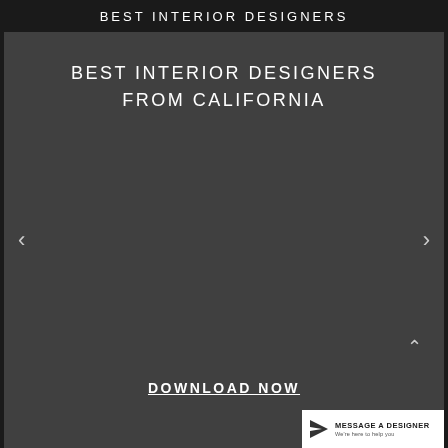BEST INTERIOR DESIGNERS
BEST INTERIOR DESIGNERS FROM CALIFORNIA
< (left navigation arrow)
> (right navigation arrow)
^ (up navigation arrow)
DOWNLOAD NOW
[Figure (logo): Message A Designer badge with paper airplane icon, text: MESSAGE A DESIGNER / We're here to help you]